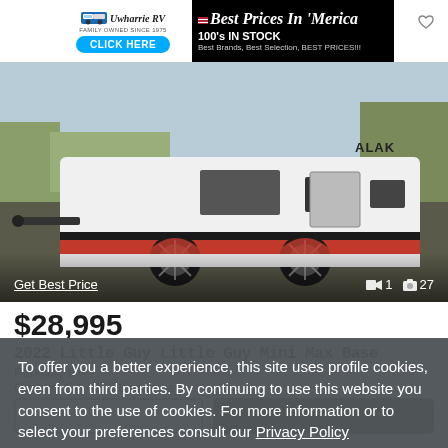[Figure (screenshot): Ad banner for Uwharrie RV with text 'Best Prices In Merica', '100's IN STOCK', 'Best Brands, Best Selection, BEST PRICES!!!', and 'CLICK HERE' button]
[Figure (photo): Photo of a 2022 Little Guy Mini Max Base travel trailer (small white/red teardrop-style camper) parked outdoors with 'ALAK' branding. Shows 1 video and 27 photos available.]
Get Best Price
1  27
$28,995
2022 Little Guy Little Guy Mini Max Base
Parkway RV
Castaic, CA - 2,278 mi. away
To offer you a better experience, this site uses profile cookies, even from third parties. By continuing to use this website you consent to the use of cookies. For more information or to select your preferences consult our Privacy Policy
Cookie Settings
✓ OK